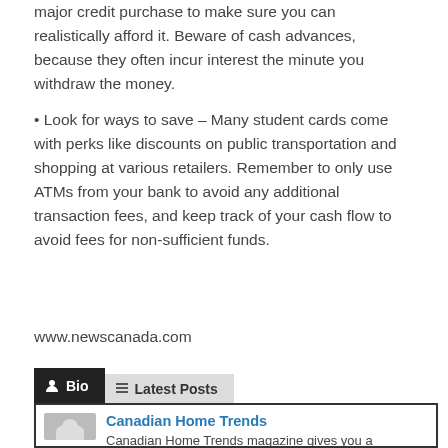major credit purchase to make sure you can realistically afford it. Beware of cash advances, because they often incur interest the minute you withdraw the money.
• Look for ways to save – Many student cards come with perks like discounts on public transportation and shopping at various retailers. Remember to only use ATMs from your bank to avoid any additional transaction fees, and keep track of your cash flow to avoid fees for non-sufficient funds.
www.newscanada.com
Bio | Latest Posts
Canadian Home Trends
Canadian Home Trends magazine gives you a personal tour of the most stunning homes and condos across Canada. You'll be inspired by a selection of accessible home décor products, trend reports,